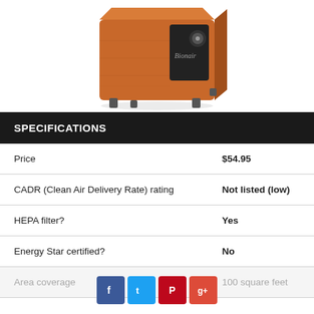[Figure (photo): Product photo of a wooden air purifier with black front panel and metal feet, viewed from an angle above.]
| Specification | Value |
| --- | --- |
| Price | $54.95 |
| CADR (Clean Air Delivery Rate) rating | Not listed (low) |
| HEPA filter? | Yes |
| Energy Star certified? | No |
| Area coverage | 100 square feet |